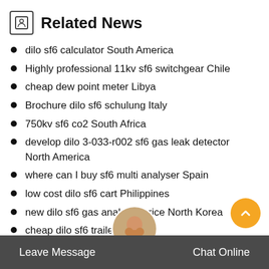Related News
dilo sf6 calculator South America
Highly professional 11kv sf6 switchgear Chile
cheap dew point meter Libya
Brochure dilo sf6 schulung Italy
750kv sf6 co2 South Africa
develop dilo 3-033-r002 sf6 gas leak detector North America
where can I buy sf6 multi analyser Spain
low cost dilo sf6 cart Philippines
new dilo sf6 gas analyzer price North Korea
cheap dilo sf6 trailer Libya
40 5kv sf6 gas manufacturer
pem abb sf6 circuit breaker spares Africa
Leave Message  Chat Online